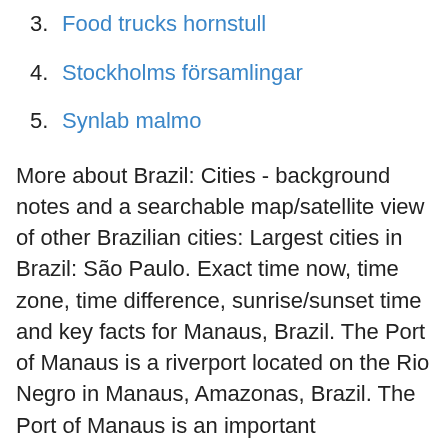3. Food trucks hornstull
4. Stockholms församlingar
5. Synlab malmo
More about Brazil: Cities - background notes and a searchable map/satellite view of other Brazilian cities: Largest cities in Brazil: São Paulo. Exact time now, time zone, time difference, sunrise/sunset time and key facts for Manaus, Brazil. The Port of Manaus is a riverport located on the Rio Negro in Manaus, Amazonas, Brazil. The Port of Manaus is an important commercial center for ocean-going vessels traveling the Amazon. In fact, it is the main transport hub for the entire upper Amazon Basin. It imports beef from the hinterlands and exports hides